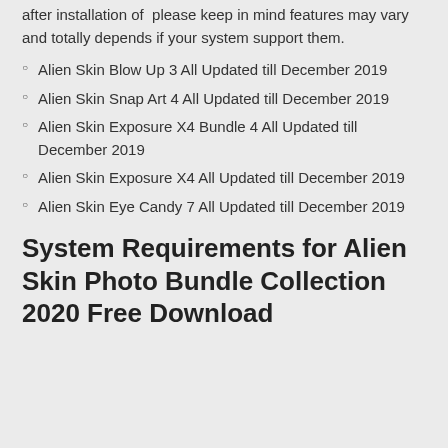after installation of  please keep in mind features may vary and totally depends if your system support them.
Alien Skin Blow Up 3 All Updated till December 2019
Alien Skin Snap Art 4 All Updated till December 2019
Alien Skin Exposure X4 Bundle 4 All Updated till December 2019
Alien Skin Exposure X4 All Updated till December 2019
Alien Skin Eye Candy 7 All Updated till December 2019
System Requirements for Alien Skin Photo Bundle Collection 2020 Free Download